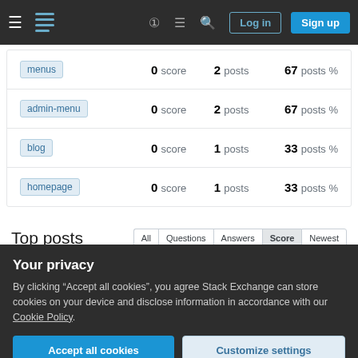Stack Exchange navigation bar with Log in and Sign up buttons
| Tag | Score | Posts | Posts % |
| --- | --- | --- | --- |
| menus | 0 score | 2 posts | 67 posts % |
| admin-menu | 0 score | 2 posts | 67 posts % |
| blog | 0 score | 1 posts | 33 posts % |
| homepage | 0 score | 1 posts | 33 posts % |
Top posts
Your privacy
By clicking "Accept all cookies", you agree Stack Exchange can store cookies on your device and disclose information in accordance with our Cookie Policy.
Accept all cookies   Customize settings